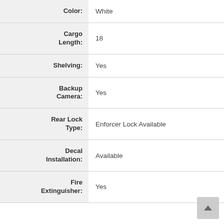| Attribute | Value |
| --- | --- |
| Color: | White |
| Cargo Length: | 18 |
| Shelving: | Yes |
| Backup Camera: | Yes |
| Rear Lock Type: | Enforcer Lock Available |
| Decal Installation: | Available |
| Fire Extinguisher: | Yes |